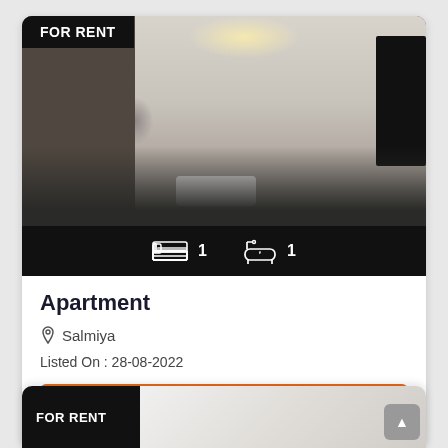[Figure (photo): Interior photo of an apartment showing a living room with dark sofa, kitchen area with refrigerator and washing machine, and a TV on the right wall. Warm ceiling light visible. FOR RENT badge in top-left corner.]
FOR RENT
1  1
Apartment
Salmiya
Listed On : 28-08-2022
KD 425.00 / Monthly
FOR RENT